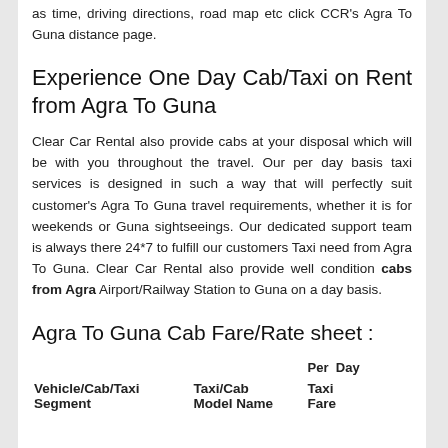as time, driving directions, road map etc click CCR's Agra To Guna distance page.
Experience One Day Cab/Taxi on Rent from Agra To Guna
Clear Car Rental also provide cabs at your disposal which will be with you throughout the travel. Our per day basis taxi services is designed in such a way that will perfectly suit customer's Agra To Guna travel requirements, whether it is for weekends or Guna sightseeings. Our dedicated support team is always there 24*7 to fulfill our customers Taxi need from Agra To Guna. Clear Car Rental also provide well condition cabs from Agra Airport/Railway Station to Guna on a day basis.
Agra To Guna Cab Fare/Rate sheet :
| Vehicle/Cab/Taxi Segment | Taxi/Cab Model Name | Per Day Taxi Fare |
| --- | --- | --- |